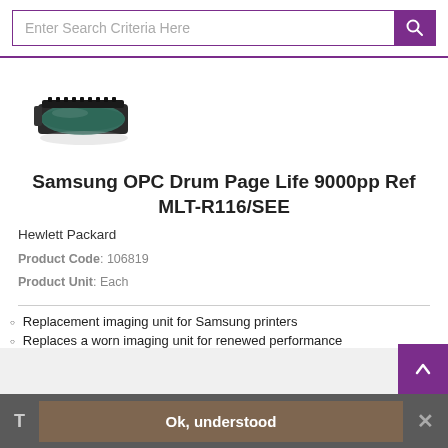Enter Search Criteria Here
[Figure (photo): Samsung OPC Drum unit product image — a black drum/imaging unit cartridge viewed at an angle]
Samsung OPC Drum Page Life 9000pp Ref MLT-R116/SEE
Hewlett Packard
Product Code: 106819
Product Unit: Each
Replacement imaging unit for Samsung printers
Replaces a worn imaging unit for renewed performance
T  Ok, understood  ×